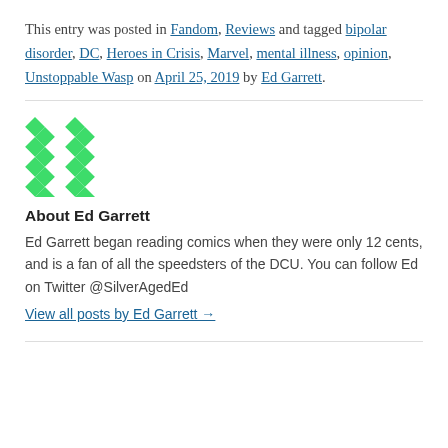This entry was posted in Fandom, Reviews and tagged bipolar disorder, DC, Heroes in Crisis, Marvel, mental illness, opinion, Unstoppable Wasp on April 25, 2019 by Ed Garrett.
[Figure (illustration): Green and white geometric pattern avatar image for Ed Garrett]
About Ed Garrett
Ed Garrett began reading comics when they were only 12 cents, and is a fan of all the speedsters of the DCU. You can follow Ed on Twitter @SilverAgedEd
View all posts by Ed Garrett →